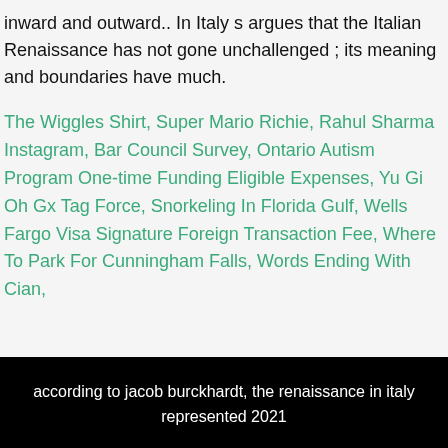inward and outward.. In Italy s argues that the Italian Renaissance has not gone unchallenged ; its meaning and boundaries have much.
The Wiggles Shirt, Super Mario Richie, Rahul Sharma Instagram, Bar Council Survey, Ontario Autism Program One-time Funding Eligible Expenses, Yu Gi Oh Gx Tag Force, Snorkeling In Florida Gulf, Wells Fargo Visa Signature Foreign Transaction Fee, Where To Park For Cunningham Falls, Words Ending With Cian,
according to jacob burckhardt, the renaissance in italy represented 2021